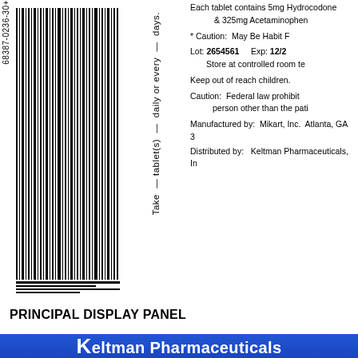[Figure (other): Barcode with NDC number 68387-0236-30+ rotated vertically on left side]
Take — tablet(s) — daily or every — days.
Each tablet contains 5mg Hydrocodone & 325mg Acetaminophen
* Caution: May Be Habit Forming
Lot: 2654561   Exp: 12/... Store at controlled room temperature
Keep out of reach children.
Caution: Federal law prohibits... person other than the patient...
Manufactured by: Mikart, Inc. Atlanta, GA 3...
Distributed by: Keltman Pharmaceuticals, Inc...
PRINCIPAL DISPLAY PANEL
[Figure (logo): Keltman Pharmaceuticals blue banner logo with white text]
[Figure (other): Barcode with NDC 68387-236-... rotated vertically]
NDC: 68387-236-9... Hydrocodone Bi... Acetaminophen 5... Generic Norco 5/3... 90 Tablets Each tablet contains 5mg Hyd... & 325mg Acetam...